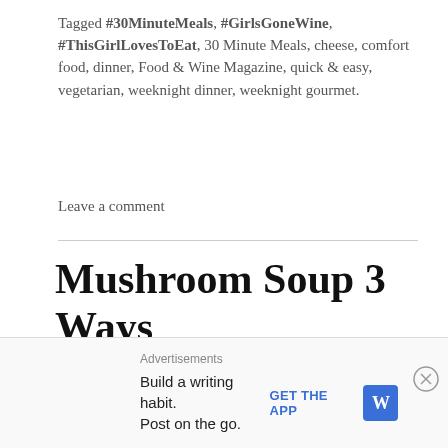Tagged #30MinuteMeals, #GirlsGoneWine, #ThisGirlLovesToEat, 30 Minute Meals, cheese, comfort food, dinner, Food & Wine Magazine, quick & easy, vegetarian, weeknight dinner, weeknight gourmet.
Leave a comment
Mushroom Soup 3 Ways
There’s nothing else like a hearty mushroom soup to make my tummy super happy. #ThisGirlLovesToEat. Thankfully, mushroom soup is easy to make, and can be
Advertisements
Build a writing habit. Post on the go.
GET THE APP